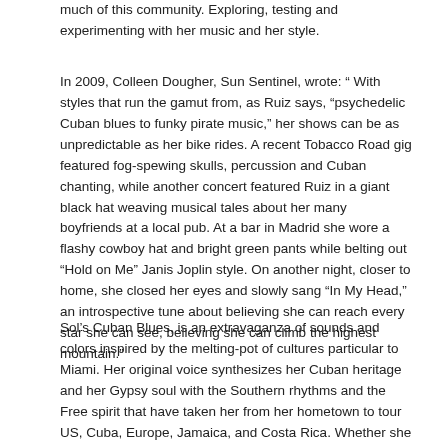much of this community. Exploring, testing and experimenting with her music and her style.
In 2009, Colleen Dougher, Sun Sentinel, wrote: “ With styles that run the gamut from, as Ruiz says, “psychedelic Cuban blues to funky pirate music,” her shows can be as unpredictable as her bike rides. A recent Tobacco Road gig featured fog-spewing skulls, percussion and Cuban chanting, while another concert featured Ruiz in a giant black hat weaving musical tales about her many boyfriends at a local pub. At a bar in Madrid she wore a flashy cowboy hat and bright green pants while belting out “Hold on Me” Janis Joplin style. On another night, closer to home, she closed her eyes and slowly sang “In My Head,” an introspective tune about believing she can reach every star she can see, believing she can climb the highest mountain.”
Sol’s Cuban Blues, is an extravaganza of sounds and colors inspired by the melting-pot of cultures particular to Miami. Her original voice synthesizes her Cuban heritage and her Gypsy soul with the Southern rhythms and the Free spirit that have taken her from her hometown to tour US, Cuba, Europe, Jamaica, and Costa Rica. Whether she sings acappella over her ukulele or backed by an eight piece band Sol Ruiz fills the room with her exceptional performance and vocals which are as powerful as her lyrics. Flower Child by nature, Sol developed her own genre where the lines between salsa, country, gospel and blues no longer